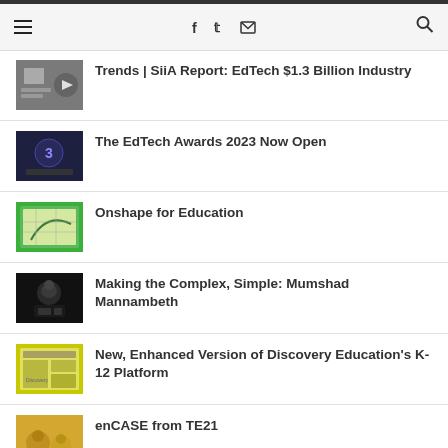Navigation header with hamburger menu, social icons (Facebook, Twitter, Email), and search icon
Trends | SiiA Report: EdTech $1.3 Billion Industry
The EdTech Awards 2023 Now Open
Onshape for Education
Making the Complex, Simple: Mumshad Mannambeth
New, Enhanced Version of Discovery Education's K-12 Platform
enCASE from TE21